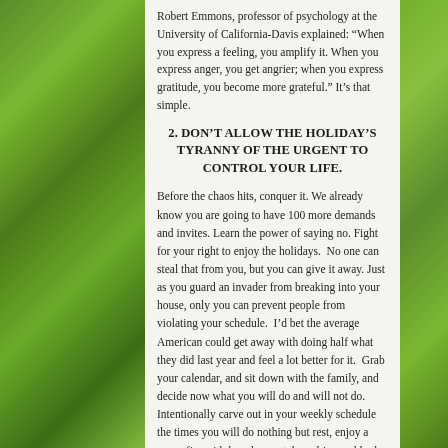Robert Emmons, professor of psychology at the University of California-Davis explained: “When you express a feeling, you amplify it. When you express anger, you get angrier; when you express gratitude, you become more grateful.” It’s that simple.
2. DON’T ALLOW THE HOLIDAY’S TYRANNY OF THE URGENT TO CONTROL YOUR LIFE.
Before the chaos hits, conquer it. We already know you are going to have 100 more demands and invites. Learn the power of saying no. Fight for your right to enjoy the holidays.  No one can steal that from you, but you can give it away. Just as you guard an invader from breaking into your house, only you can prevent people from violating your schedule.  I’d bet the average American could get away with doing half what they did last year and feel a lot better for it.  Grab your calendar, and sit down with the family, and decide now what you will do and will not do. Intentionally carve out in your weekly schedule the times you will do nothing but rest, enjoy a warm fire with loved ones, take a drive and look at pretty Christmas decorations, or just sit